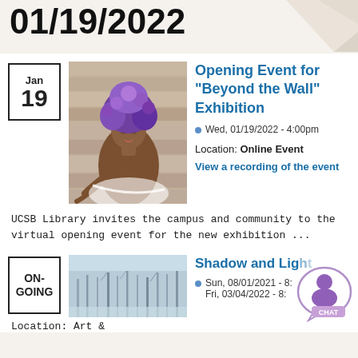01/19/2022
[Figure (photo): Art painting of a figure with purple hair against a wooden wall background]
Opening Event for “Beyond the Wall” Exhibition
Wed, 01/19/2022 - 4:00pm
Location: Online Event
View a recording of the event
UCSB Library invites the campus and community to the virtual opening event for the new exhibition ...
[Figure (photo): Winter trees in snow/mist landscape photograph]
Shadow and Light
Sun, 08/01/2021 - 8:
Fri, 03/04/2022 - 8:
Location: Art &